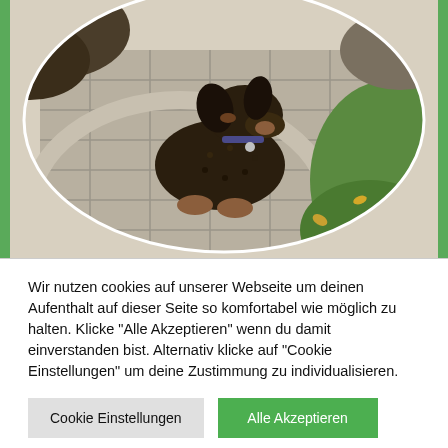[Figure (photo): A wire-haired dachshund puppy sitting on a paved stone path in a garden, surrounded by soil, grass, and some leaves. The image is cropped in a rounded/oval shape.]
Wir nutzen cookies auf unserer Webseite um deinen Aufenthalt auf dieser Seite so komfortabel wie möglich zu halten. Klicke "Alle Akzeptieren" wenn du damit einverstanden bist. Alternativ klicke auf "Cookie Einstellungen" um deine Zustimmung zu individualisieren.